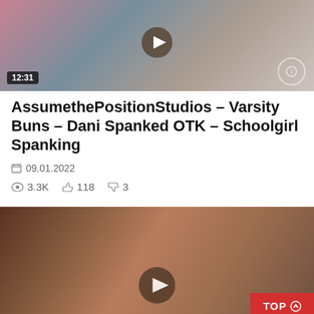[Figure (photo): Video thumbnail showing two people, with a wooden paddle on a white surface. Duration badge shows 12:31.]
AssumethePositionStudios – Varsity Buns – Dani Spanked OTK – Schoolgirl Spanking
09.01.2022
3.3K  118  3
[Figure (photo): Video thumbnail showing a close-up scene with a hairbrush. TOP button visible in bottom right corner.]